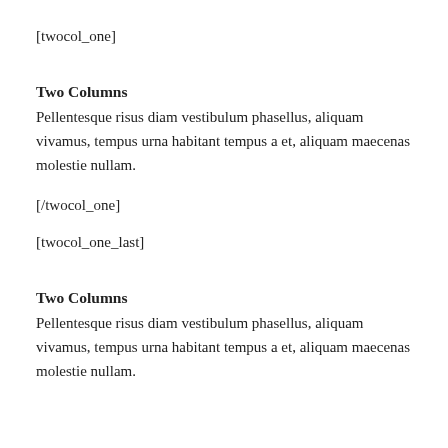[twocol_one]
Two Columns
Pellentesque risus diam vestibulum phasellus, aliquam vivamus, tempus urna habitant tempus a et, aliquam maecenas molestie nullam.
[/twocol_one]
[twocol_one_last]
Two Columns
Pellentesque risus diam vestibulum phasellus, aliquam vivamus, tempus urna habitant tempus a et, aliquam maecenas molestie nullam.